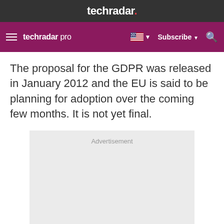techradar.
techradar pro — Subscribe
The proposal for the GDPR was released in January 2012 and the EU is said to be planning for adoption over the coming few months. It is not yet final.
[Figure (other): Advertisement placeholder box]